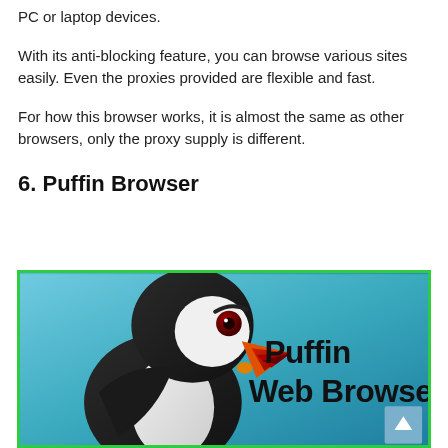PC or laptop devices.
With its anti-blocking feature, you can browse various sites easily. Even the proxies provided are flexible and fast.
For how this browser works, it is almost the same as other browsers, only the proxy supply is different.
6. Puffin Browser
[Figure (photo): Puffin Web Browser logo showing a cartoon puffin bird on a blue gradient background with the text 'Puffin Web Browser']